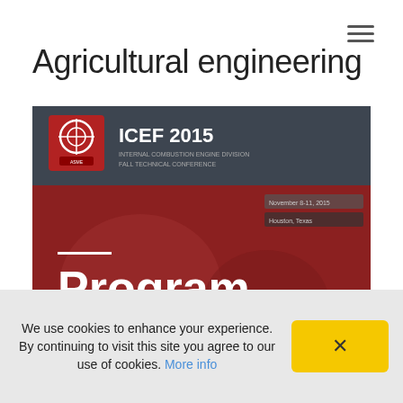≡
Agricultural engineering
[Figure (screenshot): ICEF 2015 Internal Combustion Engine Division Fall Technical Conference program cover — dark header with ASME logo and ICEF 2015 text, red/brown background with 'Program' in large white bold text, small white date and location text, decorative engine imagery in background]
We use cookies to enhance your experience. By continuing to visit this site you agree to our use of cookies. More info